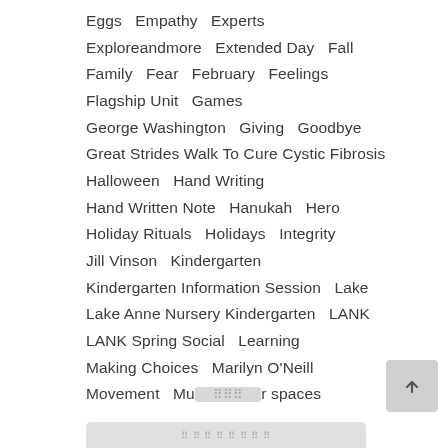Eggs  Empathy  Experts
Exploreandmore  Extended Day  Fall
Family  Fear  February  Feelings
Flagship Unit  Games
George Washington  Giving  Goodbye
Great Strides Walk To Cure Cystic Fibrosis
Halloween  Hand Writing
Hand Written Note  Hanukah  Hero
Holiday Rituals  Holidays  Integrity
Jill Vinson  Kindergarten
Kindergarten Information Session  Lake
Lake Anne Nursery Kindergarten  LANK
LANK Spring Social  Learning
Making Choices  Marilyn O'Neill
Movement  Mu…r spaces